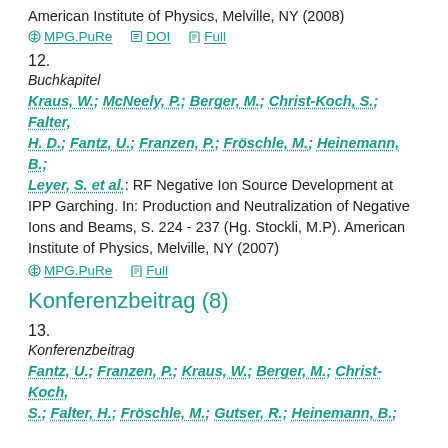American Institute of Physics, Melville, NY (2008)
MPG.PuRe | DOI | Full
12.
Buchkapitel
Kraus, W.; McNeely, P.; Berger, M.; Christ-Koch, S.; Falter, H. D.; Fantz, U.; Franzen, P.; Fröschle, M.; Heinemann, B.; Leyer, S. et al.: RF Negative Ion Source Development at IPP Garching. In: Production and Neutralization of Negative Ions and Beams, S. 224 - 237 (Hg. Stockli, M.P). American Institute of Physics, Melville, NY (2007)
MPG.PuRe | Full
Konferenzbeitrag (8)
13.
Konferenzbeitrag
Fantz, U.; Franzen, P.; Kraus, W.; Berger, M.; Christ-Koch, S.; Falter, H.; Fröschle, M.; Gutser, R.; Heinemann, B.;